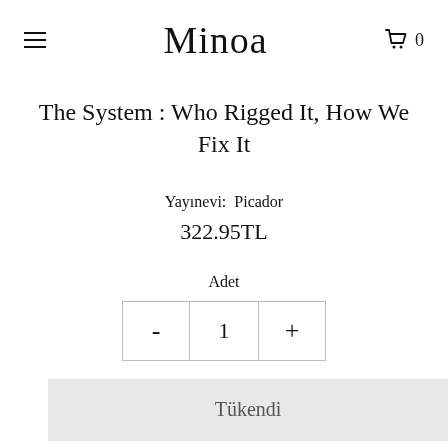Minoa
The System : Who Rigged It, How We Fix It
Yayınevi: Picador
322.95TL
Adet
- 1 +
Tükendi